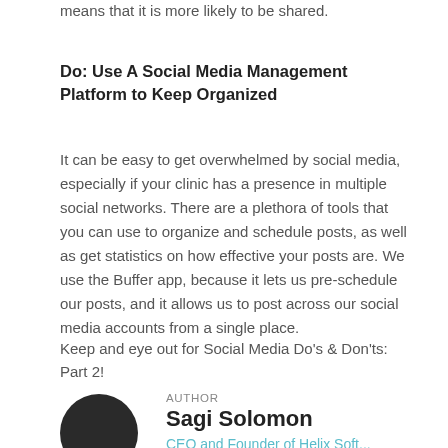means that it is more likely to be shared.
Do: Use A Social Media Management Platform to Keep Organized
It can be easy to get overwhelmed by social media, especially if your clinic has a presence in multiple social networks. There are a plethora of tools that you can use to organize and schedule posts, as well as get statistics on how effective your posts are. We use the Buffer app, because it lets us pre-schedule our posts, and it allows us to post across our social media accounts from a single place.
Keep and eye out for Social Media Do's & Don'ts: Part 2!
AUTHOR
Sagi Solomon
CEO and Founder of Helix Soft...